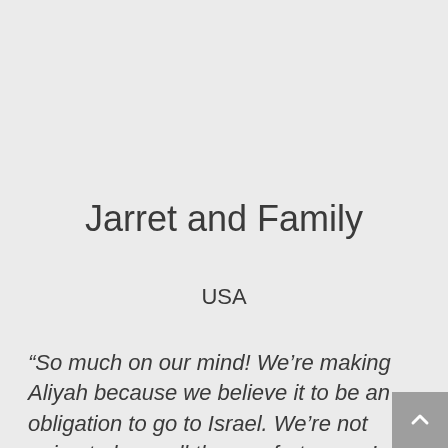Jarret and Family
USA
“So much on our mind! We’re making Aliyah because we believe it to be an obligation to go to Israel. We’re not going to have all the comforts… we’re not going to have the same support system etc. But this is the right thing